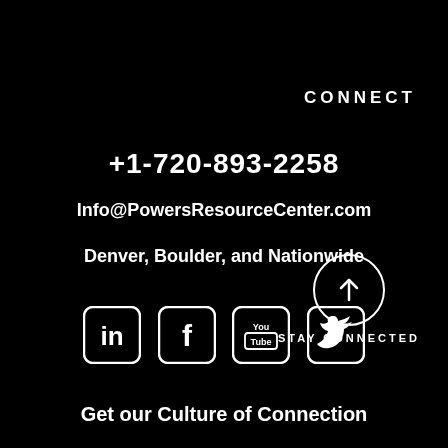CONNECT
+1-720-893-2258
Info@PowersResourceCenter.com
Denver, Boulder, and Nationwide
[Figure (infographic): Four social media icons in rounded square buttons: LinkedIn, Facebook, YouTube, Twitter]
[Figure (infographic): Circle with upward arrow icon and text STAY CONNECTED below]
Get our Culture of Connection